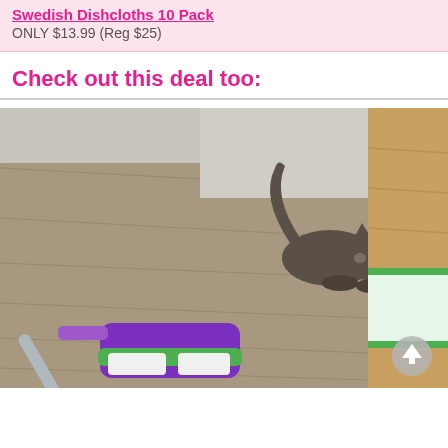Swedish Dishcloths 10 Pack
ONLY $13.99 (Reg $25)
Check out this deal too:
[Figure (photo): A tabby cat crouching on a wood-look laminate floor with a purple and green Swiffer WetJet mop lying in the foreground]
[Figure (photo): Partial view of a green-bordered product on wood-look flooring, with a circular scroll-to-top button overlay]